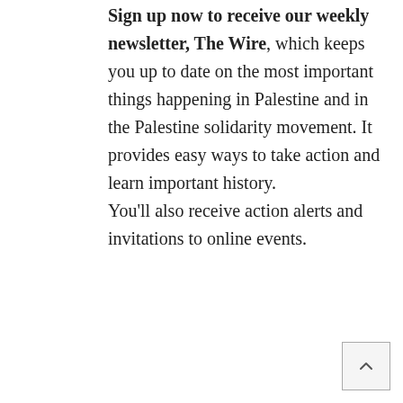Sign up now to receive our weekly newsletter, The Wire, which keeps you up to date on the most important things happening in Palestine and in the Palestine solidarity movement. It provides easy ways to take action and learn important history.

You'll also receive action alerts and invitations to online events.